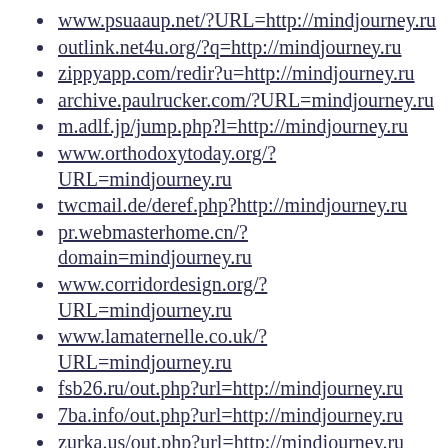www.psuaaup.net/?URL=http://mindjourney.ru
outlink.net4u.org/?q=http://mindjourney.ru
zippyapp.com/redir?u=http://mindjourney.ru
archive.paulrucker.com/?URL=mindjourney.ru
m.adlf.jp/jump.php?l=http://mindjourney.ru
www.orthodoxytoday.org/?URL=mindjourney.ru
twcmail.de/deref.php?http://mindjourney.ru
pr.webmasterhome.cn/?domain=mindjourney.ru
www.corridordesign.org/?URL=mindjourney.ru
www.lamaternelle.co.uk/?URL=mindjourney.ru
fsb26.ru/out.php?url=http://mindjourney.ru
7ba.info/out.php?url=http://mindjourney.ru
zurka.us/out.php?url=http://mindjourney.ru
www.jschell.de/link.php?url=mindjourney.ru
www.gunmart.net/?URL=http://mindjourney.ru
twilightrussia.ru/go?http://mindjourney.ru
pressa.net/go.php?to=http://mindjourney.ru
lilnymph.com/out.php?http://mindjourney.ru
www.herna.net/cgi/redir.cgi?mindjourney.ru